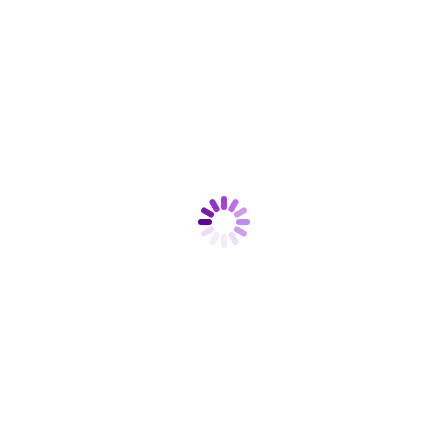[Figure (other): A loading spinner icon rendered as a circle of dashes/strokes in varying shades of purple, from dark purple to light lavender, indicating a loading or processing state. The spinner is centered on an otherwise blank white page.]